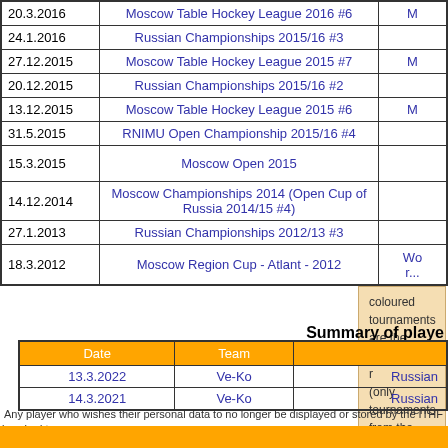| Date | Tournament | Result |
| --- | --- | --- |
| 20.3.2016 | Moscow Table Hockey League 2016 #6 | M... |
| 24.1.2016 | Russian Championships 2015/16 #3 |  |
| 27.12.2015 | Moscow Table Hockey League 2015 #7 | M... |
| 20.12.2015 | Russian Championships 2015/16 #2 |  |
| 13.12.2015 | Moscow Table Hockey League 2015 #6 | M... |
| 31.5.2015 | RNIMU Open Championship 2015/16 #4 |  |
| 15.3.2015 | Moscow Open 2015 |  |
| 14.12.2014 | Moscow Championships 2014 (Open Cup of Russia 2014/15 #4) |  |
| 27.1.2013 | Russian Championships 2012/13 #3 |  |
| 18.3.2012 | Moscow Region Cup - Atlant - 2012 | Wo... r... |
coloured tournaments are the players best r... (only tournaments from the last 6 years coun...
Summary of playe...
| Date | Team |  |
| --- | --- | --- |
| 13.3.2022 | Ve-Ko | Russian... |
| 14.3.2021 | Ve-Ko | Russian... |
Any player who wishes their personal data to no longer be displayed or stored by the ITHF is asked to...